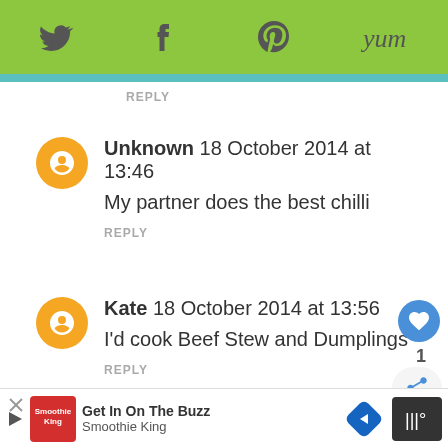Twitter | Facebook | Pinterest | Yum
REPLY
Unknown 18 October 2014 at 13:46
My partner does the best chilli
REPLY
Kate 18 October 2014 at 13:56
I'd cook Beef Stew and Dumplings
REPLY
WHAT'S NEXT → Chicken with Chorizo...
Alana Walker 18 October 2014 at 14:00
[Figure (screenshot): Ad bar at bottom: Smoothie King - Get In On The Buzz with navigation icons]